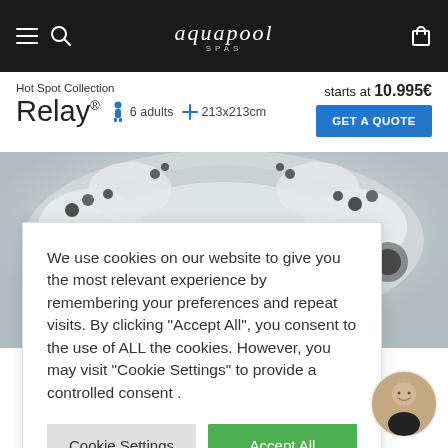aquapool SPAS
Hot Spot Collection
Relay® 6 adults 213x213cm
starts at 10.995€
GET A QUOTE
[Figure (photo): Aerial view of a white hot tub spa with black jet nozzles and multiple seating areas]
We use cookies on our website to give you the most relevant experience by remembering your preferences and repeat visits. By clicking "Accept All", you consent to the use of ALL the cookies. However, you may visit "Cookie Settings" to provide a controlled consent .
Cookie Settings
Accept All